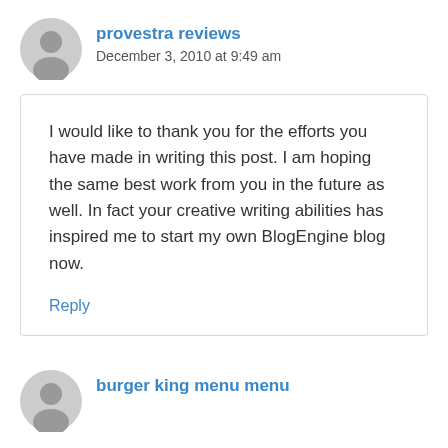provestra reviews
December 3, 2010 at 9:49 am
I would like to thank you for the efforts you have made in writing this post. I am hoping the same best work from you in the future as well. In fact your creative writing abilities has inspired me to start my own BlogEngine blog now.
Reply
burger king menu menu